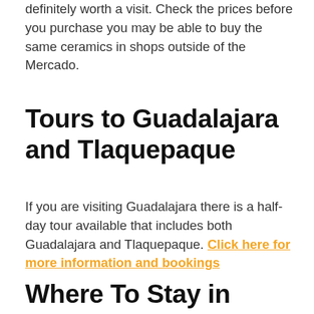definitely worth a visit. Check the prices before you purchase you may be able to buy the same ceramics in shops outside of the Mercado.
Tours to Guadalajara and Tlaquepaque
If you are visiting Guadalajara there is a half-day tour available that includes both Guadalajara and Tlaquepaque. Click here for more information and bookings
Where To Stay in